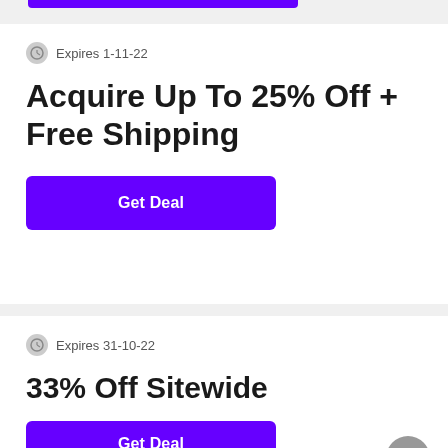Expires 1-11-22
Acquire Up To 25% Off + Free Shipping
Get Deal
Expires 31-10-22
33% Off Sitewide
Get Deal